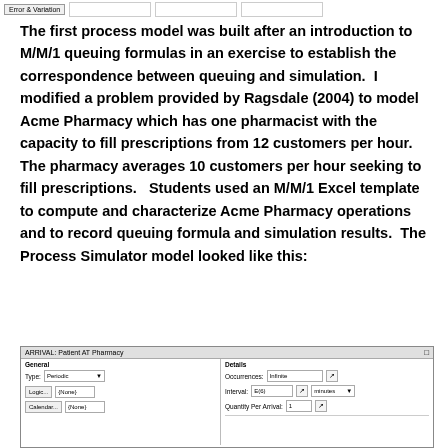Error & Variation
The first process model was built after an introduction to M/M/1 queuing formulas in an exercise to establish the correspondence between queuing and simulation.  I modified a problem provided by Ragsdale (2004) to model Acme Pharmacy which has one pharmacist with the capacity to fill prescriptions from 12 customers per hour.  The pharmacy averages 10 customers per hour seeking to fill prescriptions.   Students used an M/M/1 Excel template to compute and characterize Acme Pharmacy operations and to record queuing formula and simulation results.  The Process Simulator model looked like this:
[Figure (screenshot): Process Simulator dialog box titled 'ARRIVAL: Patient AT Pharmacy' showing General section with Type: Periodic dropdown and Logic/Calendar buttons, and Details section with Occurrences: Infinite, Interval: E(6), minutes dropdown, Quantity Per Arrival: 1]